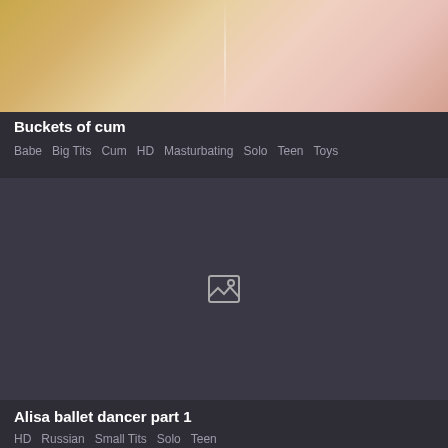[Figure (photo): Blurred close-up photo with warm golden and pink tones, partially cropped at top]
Buckets of cum
Babe  Big Tits  Cum  HD  Masturbating  Solo  Teen  Toys
[Figure (photo): Broken/missing image placeholder with image icon on dark background]
Alisa ballet dancer part 1
HD  Russian  Small Tits  Solo  Teen